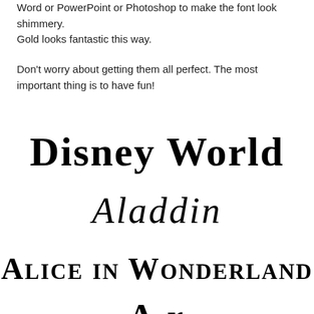Word or PowerPoint or Photoshop to make the font look shimmery. Gold looks fantastic this way.
Don't worry about getting them all perfect. The most important thing is to have fun!
[Figure (illustration): Disney World text rendered in Disney-style font]
[Figure (illustration): Aladdin text rendered in Aladdin movie-style italic font]
[Figure (illustration): Alice in Wonderland text rendered in small-caps serif font]
[Figure (illustration): Partially visible fourth font example at bottom of page]